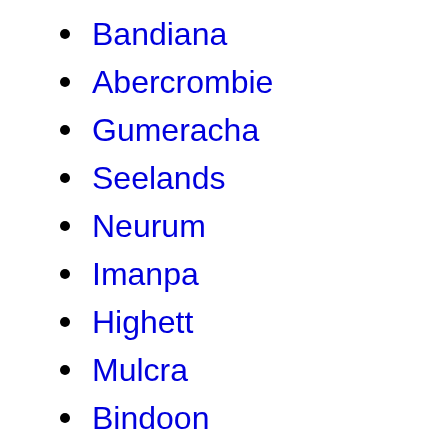Bandiana
Abercrombie
Gumeracha
Seelands
Neurum
Imanpa
Highett
Mulcra
Bindoon
Coburg
Myrtleford